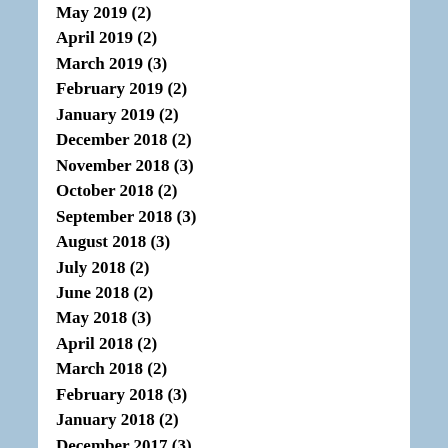May 2019 (2)
April 2019 (2)
March 2019 (3)
February 2019 (2)
January 2019 (2)
December 2018 (2)
November 2018 (3)
October 2018 (2)
September 2018 (3)
August 2018 (3)
July 2018 (2)
June 2018 (2)
May 2018 (3)
April 2018 (2)
March 2018 (2)
February 2018 (3)
January 2018 (2)
December 2017 (3)
November 2017 (2)